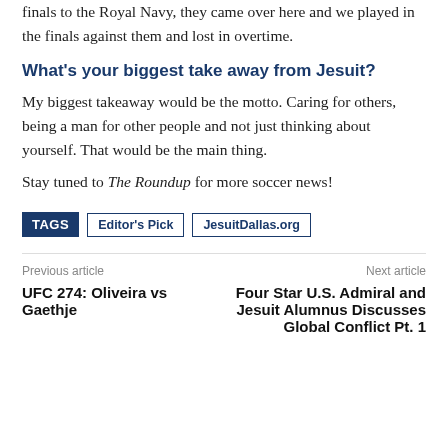finals to the Royal Navy, they came over here and we played in the finals against them and lost in overtime.
What’s your biggest take away from Jesuit?
My biggest takeaway would be the motto. Caring for others, being a man for other people and not just thinking about yourself. That would be the main thing.
Stay tuned to The Roundup for more soccer news!
TAGS  Editor’s Pick  JesuitDallas.org
Previous article
Next article
UFC 274: Oliveira vs Gaethje
Four Star U.S. Admiral and Jesuit Alumnus Discusses Global Conflict Pt. 1